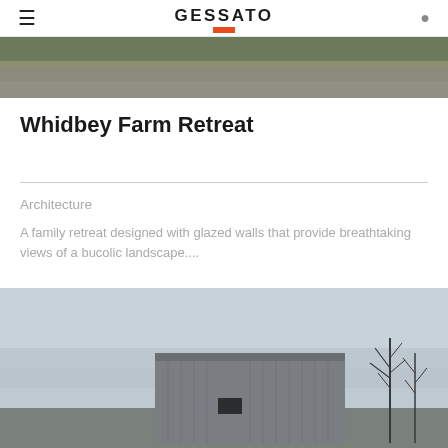GESSATO
[Figure (photo): Top partial photo showing a garden path with greenery and stone pavement]
Whidbey Farm Retreat
Architecture
A family retreat designed with glazed walls that provide breathtaking views of a bucolic landscape....
[Figure (photo): Exterior photo of a barn-like building with vertical wood cladding under an overcast sky, with bare trees to the right]